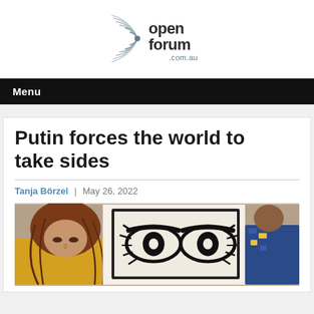[Figure (logo): Open Forum .com.au logo — circular radio-wave graphic on left, bold text 'open forum' with '.com.au' below on right]
Menu
Putin forces the world to take sides
Tanja Börzel | May 26, 2022
[Figure (photo): A person with long red-brown hair wearing a yellow top holds up a fabric panel printed with a bold graphic of eyes (resembling Shepard Fairey style art), in front of what appears to be a protest or public gathering.]